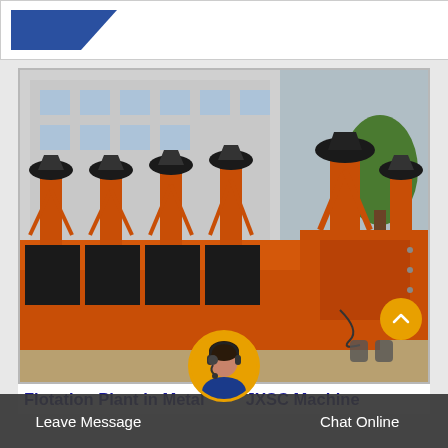[Figure (photo): Partial view of a company logo banner with blue triangular/rectangular shape on white background]
[Figure (photo): Flotation plant machines from JXSC — rows of bright orange flotation cell equipment with rotating impeller assemblies on top, photographed outdoors in an industrial yard with a building visible in the background]
Flotation Plant in Metal | JXSC Machine
[Figure (photo): Customer service representative with headset, circular avatar photo overlapping title bar and action bar]
Leave Message
Chat Online